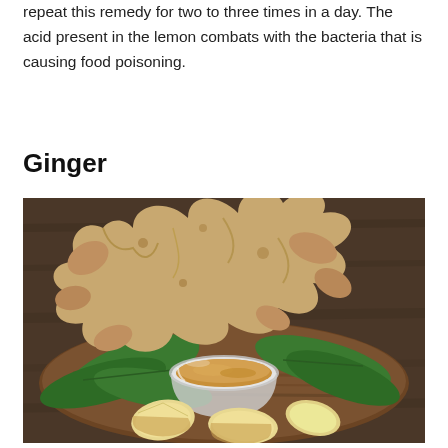repeat this remedy for two to three times in a day. The acid present in the lemon combats with the bacteria that is causing food poisoning.
Ginger
[Figure (photo): A photograph of ginger roots on a dark wooden board, with green leaves, sliced ginger pieces, and a small glass bowl filled with ground ginger powder in the center.]